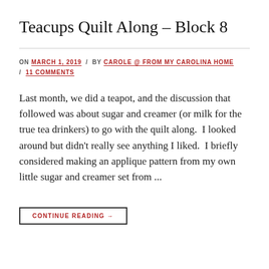Teacups Quilt Along – Block 8
ON MARCH 1, 2019 / BY CAROLE @ FROM MY CAROLINA HOME / 11 COMMENTS
Last month, we did a teapot, and the discussion that followed was about sugar and creamer (or milk for the true tea drinkers) to go with the quilt along.  I looked around but didn't really see anything I liked.  I briefly considered making an applique pattern from my own little sugar and creamer set from ...
CONTINUE READING →